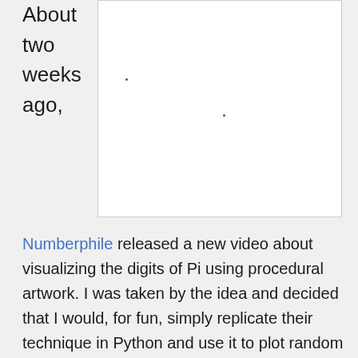About two weeks ago,
[Figure (illustration): White rectangular image area, mostly blank with two small dots]
Numberphile released a new video about visualizing the digits of Pi using procedural artwork. I was taken by the idea and decided that I would, for fun, simply replicate their technique in Python and use it to plot random sections of Pi. It was a sort of goof-off project to occupy an